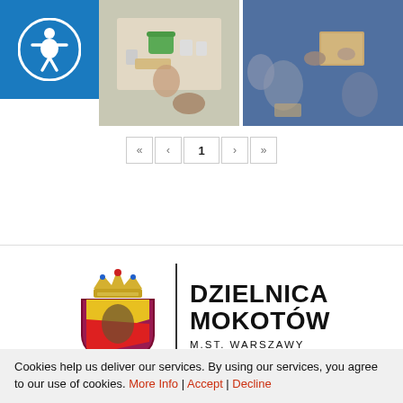[Figure (photo): Accessibility icon (person in circle) on blue background, top-left corner]
[Figure (photo): Children engaging in tabletop activity, aerial view, left photo]
[Figure (photo): Children sitting on blue floor engaged in activity, aerial view, right photo]
[Figure (other): Pagination control showing: « ‹ 1 › »]
[Figure (logo): Dzielnica Mokotów M.St. Warszawy logo with coat of arms (crown, shield with yellow and red diagonal stripe)]
Cookies help us deliver our services. By using our services, you agree to our use of cookies. More Info | Accept | Decline